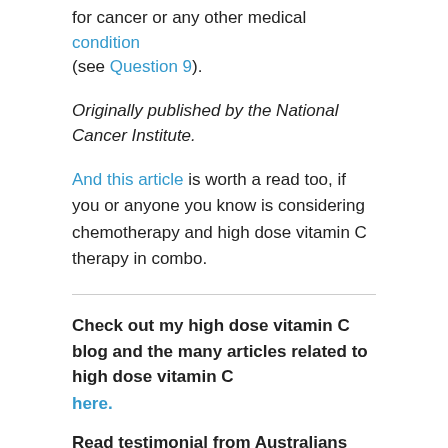for cancer or any other medical condition (see Question 9).
Originally published by the National Cancer Institute.
And this article is worth a read too, if you or anyone you know is considering chemotherapy and high dose vitamin C therapy in combo.
Check out my high dose vitamin C blog and the many articles related to high dose vitamin C here.
Read testimonial from Australians